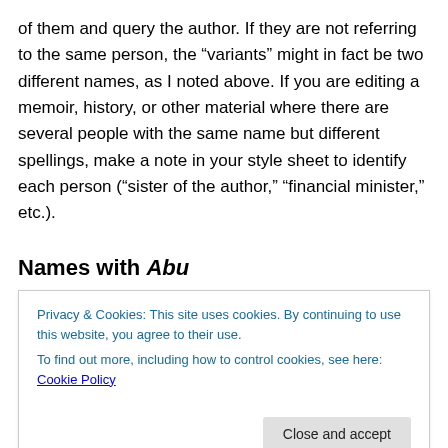of them and query the author. If they are not referring to the same person, the “variants” might in fact be two different names, as I noted above. If you are editing a memoir, history, or other material where there are several people with the same name but different spellings, make a note in your style sheet to identify each person (“sister of the author,” “financial minister,” etc.).
Names with Abu
Another source of apparent inconsistency is names that in
[Figure (other): Cookie consent banner overlay with text: Privacy & Cookies: This site uses cookies. By continuing to use this website, you agree to their use. To find out more, including how to control cookies, see here: Cookie Policy. Button: Close and accept.]
genitive, but in English the nominative ending a/u should